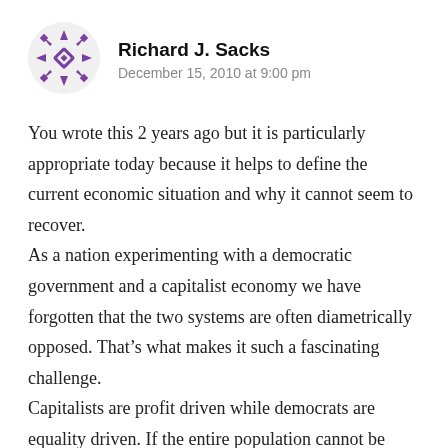[Figure (logo): Purple decorative geometric/floral avatar icon for user Richard J. Sacks]
Richard J. Sacks
December 15, 2010 at 9:00 pm
You wrote this 2 years ago but it is particularly appropriate today because it helps to define the current economic situation and why it cannot seem to recover.
As a nation experimenting with a democratic government and a capitalist economy we have forgotten that the two systems are often diametrically opposed. That’s what makes it such a fascinating challenge.
Capitalists are profit driven while democrats are equality driven. If the entire population cannot be capitalists then it is inevitable that equality